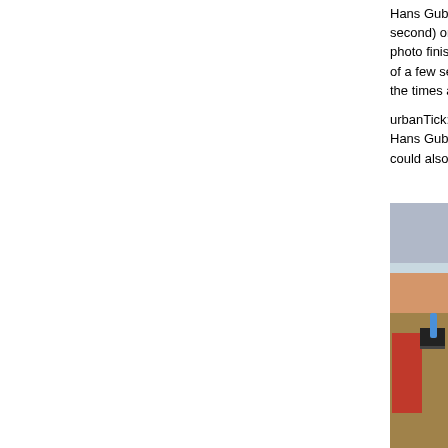Hans Gubler: In the case of Athletics and Cycling the w second) on scoreboards and TV. The official time for th photo finish pictures and transferred into the results sy of a few seconds, unless there is a tie where careful an the times are officially recorded by the touch pads at th
urbanTick: Do you think different times exists, take pla Hans Gubler: I think time could take place at a differen could also be different time levels that are still unknow
[Figure (photo): A person in a red shirt sitting at a desk with laptops and equipment, looking toward an athletics stadium track visible through a large window behind them. A second person is visible in the background. Water bottle and headphones on the desk.]